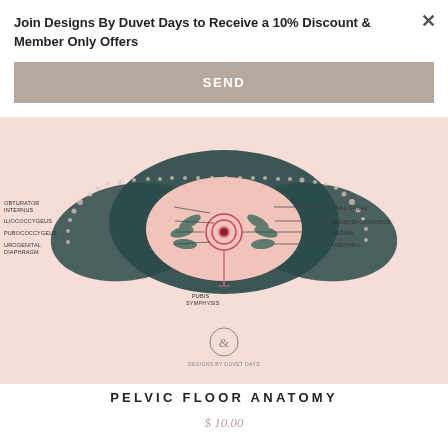Join Designs By Duvet Days to Receive a 10% Discount & Member Only Offers
SEND
[Figure (illustration): Anatomical illustration of the pelvic floor viewed from below, with labeled structures: OBTURATOR INTERNUS, ILIOCOCCYGEUS, PUBOCOCCYGEUS, UROGENITAL DIAPHRAGM on the left side; ANAL CANAL, BULBOSPONGIOSUS, VAGINA, URETHRA on the right side; PUBIS SYMPHYSIS at the bottom center. Pink background with dark teal/navy decorative elements and floral motifs. 'Designs by Duvet Days' logo with ampersand in circle at bottom center.]
PELVIC FLOOR ANATOMY
$ 10.00